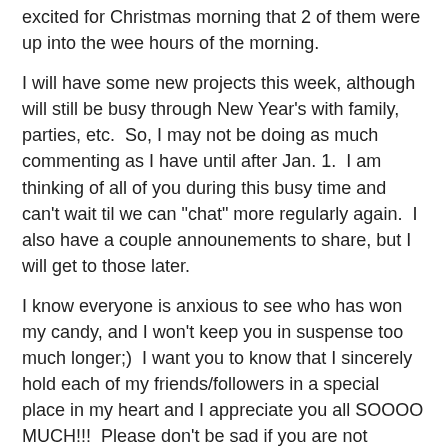excited for Christmas morning that 2 of them were up into the wee hours of the morning.
I will have some new projects this week, although will still be busy through New Year's with family, parties, etc.  So, I may not be doing as much commenting as I have until after Jan. 1.  I am thinking of all of you during this busy time and can't wait til we can "chat" more regularly again.  I also have a couple announements to share, but I will get to those later.
I know everyone is anxious to see who has won my candy, and I won't keep you in suspense too much longer;)  I want you to know that I sincerely hold each of my friends/followers in a special place in my heart and I appreciate you all SOOOO MUCH!!!  Please don't be sad if you are not chosen for this month's candy - January will bring New Year's and birthday candy (my birthday is the 13th).
Winners, please e-mail at danmoose@aol.com with your address.  I will not be sending out any candy until after Jan. 1.  Thanks for your patience.  I always notify you when your goodies are on their way to you:)